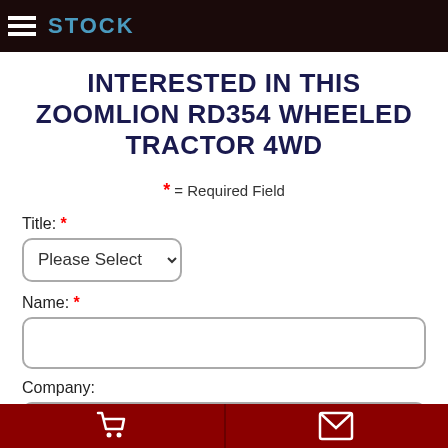STOCK
INTERESTED IN THIS ZOOMLION RD354 WHEELED TRACTOR 4WD
* = Required Field
Title: *
Please Select
Name: *
Company: